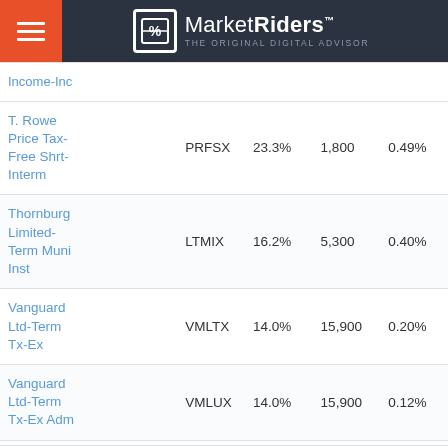MarketRiders — THE ORIGINAL DIGITAL ADVISOR
| Fund Name | Ticker | Allocation | Shares | Expense |
| --- | --- | --- | --- | --- |
| T. Rowe Price Tax-Free Shrt-Interm | PRFSX | 23.3% | 1,800 | 0.49% |
| Thornburg Limited-Term Muni Inst | LTMIX | 16.2% | 5,300 | 0.40% |
| Vanguard Ltd-Term Tx-Ex | VMLTX | 14.0% | 15,900 | 0.20% |
| Vanguard Ltd-Term Tx-Ex Adm | VMLUX | 14.0% | 15,900 | 0.12% |